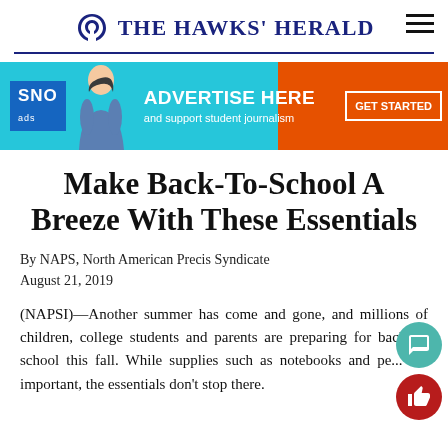THE HAWKS' HERALD
[Figure (infographic): SNO Ads advertisement banner: 'ADVERTISE HERE and support student journalism' with GET STARTED button]
Make Back-To-School A Breeze With These Essentials
By NAPS, North American Precis Syndicate
August 21, 2019
(NAPSI)—Another summer has come and gone, and millions of children, college students and parents are preparing for back-to-school this fall. While supplies such as notebooks and pe... are important, the essentials don't stop there